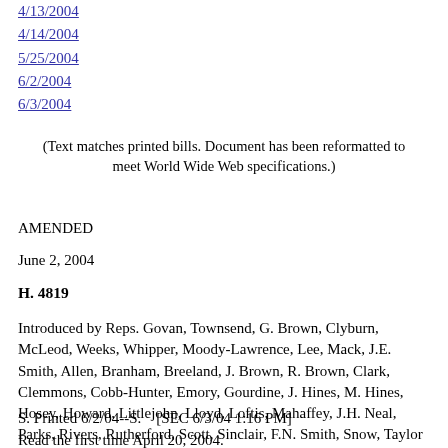4/13/2004
4/14/2004
5/25/2004
6/2/2004
6/3/2004
(Text matches printed bills. Document has been reformatted to meet World Wide Web specifications.)
AMENDED
June 2, 2004
H. 4819
Introduced by Reps. Govan, Townsend, G. Brown, Clyburn, McLeod, Weeks, Whipper, Moody-Lawrence, Lee, Mack, J.E. Smith, Allen, Branham, Breeland, J. Brown, R. Brown, Clark, Clemmons, Cobb-Hunter, Emory, Gourdine, J. Hines, M. Hines, Hosey, Howard, Littlejohn, Lloyd, Loftis, Mahaffey, J.H. Neal, Parks, Rivers, Rutherford, Scott, Sinclair, F.N. Smith, Snow, Taylor and Tripp
S. Printed 6/2/04--S.    [SEC 6/3/04 1:16 PM]
Read the first time April 20, 2004.